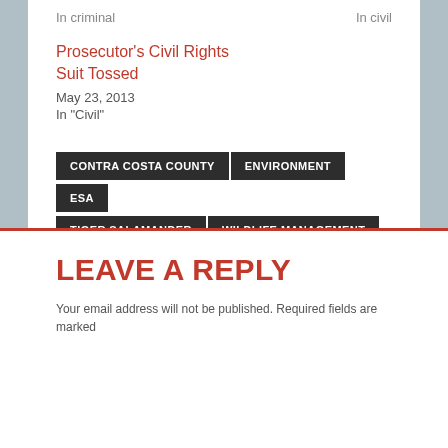In criminal   In civil
Prosecutor's Civil Rights Suit Tossed
May 23, 2013
In "Civil"
CONTRA COSTA COUNTY
ENVIRONMENT
ESA
TIGER SALAMANDER
WILDLIFE MANAGEMENT
« LA Digital Billboard Ban Upheld
Federal Judge Repeatedly Removed From Cases »
LEAVE A REPLY
Your email address will not be published. Required fields are marked